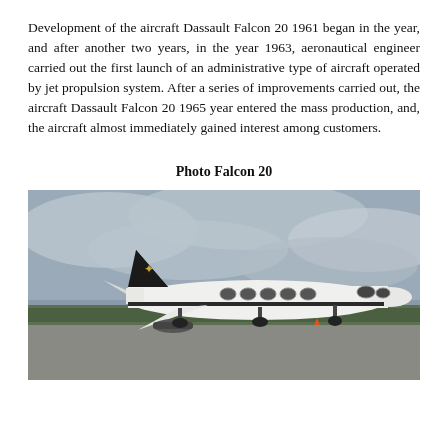Development of the aircraft Dassault Falcon 20 1961 began in the year, and after another two years, in the year 1963, aeronautical engineer carried out the first launch of an administrative type of aircraft operated by jet propulsion system. After a series of improvements carried out, the aircraft Dassault Falcon 20 1965 year entered the mass production, and, the aircraft almost immediately gained interest among customers.
Photo Falcon 20
[Figure (photo): A Dassault Falcon 20 business jet aircraft parked on a tarmac. The plane is white with a black tail featuring a bird logo. It has five oval windows along the fuselage. The background shows an overcast sky and green trees.]